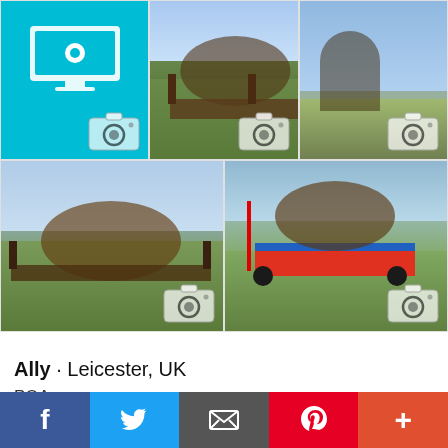[Figure (photo): Top row of 3 photo thumbnails: (1) teal/blue icon of a computer monitor with a settings gear and camera overlay icon, (2) horse jumping over a wooden fence obstacle on grass with camera overlay icon, (3) partial view of a rider on a horse outdoors with camera overlay icon]
[Figure (photo): Bottom row of 2 photo thumbnails: (1) rider on a brown horse jumping over a wooden fence obstacle on grass with camera overlay icon, (2) rider on a horse jumping over a colorful blue/red/green obstacle with camera overlay icon]
Ally · Leicester, UK
POA
16.1, 4yo mare (Sirillio x Aldatus Z)
Ally is now available for viewings
She is a stunning horse for the future with endless scope, a super neat jump and an incredible bold
f  𝕏  ✉  p  +